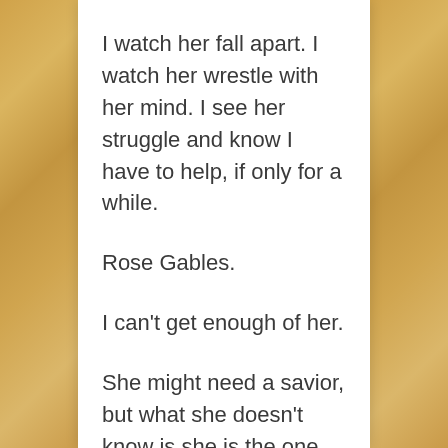I watch her fall apart. I watch her wrestle with her mind. I see her struggle and know I have to help, if only for a while.
Rose Gables.
I can't get enough of her.
She might need a savior, but what she doesn't know is she is the one doing all the saving and